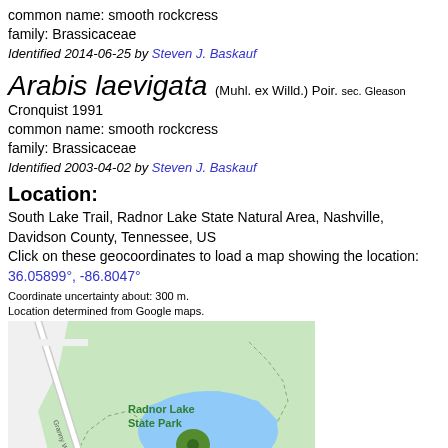common name: smooth rockcress
family: Brassicaceae
Identified 2014-06-25 by Steven J. Baskauf
Arabis laevigata (Muhl. ex Willd.) Poir. sec. Gleason Cronquist 1991
common name: smooth rockcress
family: Brassicaceae
Identified 2003-04-02 by Steven J. Baskauf
Location:
South Lake Trail, Radnor Lake State Natural Area, Nashville, Davidson County, Tennessee, US
Click on these geocoordinates to load a map showing the location: 36.05899°, -86.8047°
Coordinate uncertainty about: 300 m.
Location determined from Google maps.
[Figure (map): Map showing Radnor Lake State Park in Nashville, Tennessee with a green location pin marker indicating the specimen collection site near the lake.]